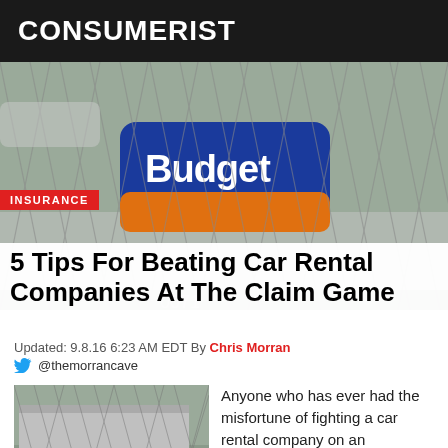CONSUMERIST
[Figure (photo): Chain-link fence with Budget car rental sign visible behind it, cars in background]
INSURANCE
5 Tips For Beating Car Rental Companies At The Claim Game
Updated: 9.8.16 6:23 AM EDT By Chris Morran
@themorrancave
[Figure (photo): Budget car rental location viewed through chain-link fence]
Anyone who has ever had the misfortune of fighting a car rental company on an